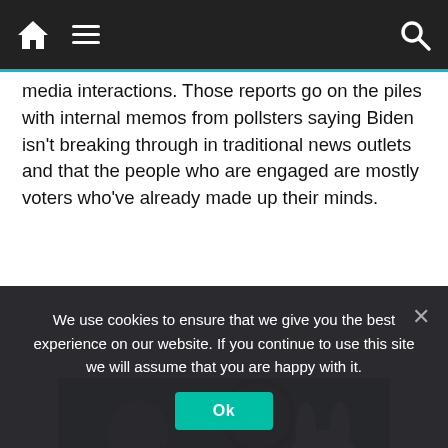Navigation bar with home icon, menu and search
media interactions. Those reports go on the piles with internal memos from pollsters saying Biden isn't breaking through in traditional news outlets and that the people who are engaged are mostly voters who've already made up their minds.
[Figure (photo): Mobile INI game advertisement banner showing game characters and 'FREE PLAY' badge]
We use cookies to ensure that we give you the best experience on our website. If you continue to use this site we will assume that you are happy with it.